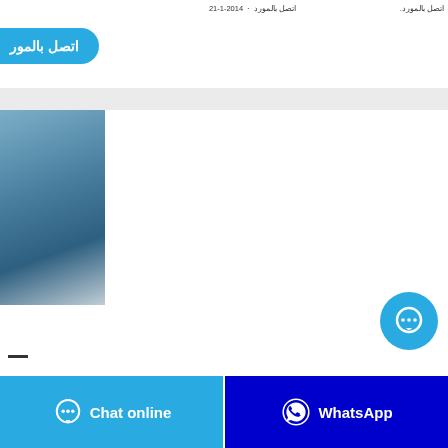اتصل بالمورد  ·  2014-1-21
[Figure (screenshot): Blue rounded button with Arabic text 'اتصل بالمور' (Contact supplier)]
[Figure (photo): Blue-grey gradient product image on left side]
[Figure (other): Circular cyan chat bubble button with three dots]
[Figure (other): Chat online button (cyan) and WhatsApp button (dark blue) at bottom]